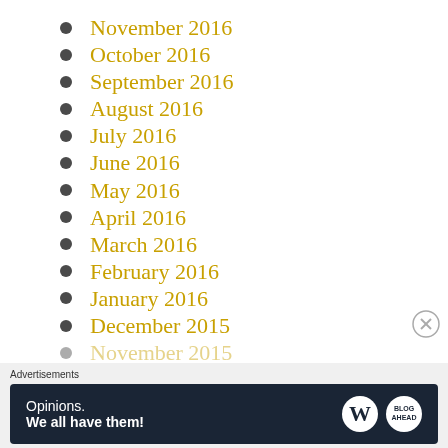November 2016
October 2016
September 2016
August 2016
July 2016
June 2016
May 2016
April 2016
March 2016
February 2016
January 2016
December 2015
November 2015
Advertisements
[Figure (infographic): WordPress advertisement banner: 'Opinions. We all have them!' with WordPress W logo and Blog logo on dark navy background]